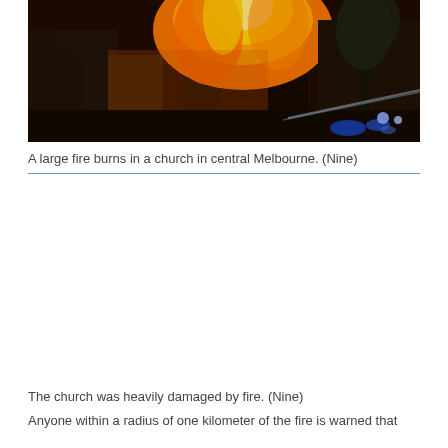[Figure (photo): A large fire burning in a church at night in central Melbourne, with intense orange and yellow flames visible above the roofline of a building. Blue emergency vehicle lights are visible in the lower right. A tree silhouette is on the right side. A water hose stream is visible.]
A large fire burns in a church in central Melbourne. (Nine)
The church was heavily damaged by fire. (Nine)
Anyone within a radius of one kilometer of the fire is warned that